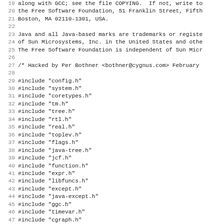Source code listing lines 19-50, showing license text and #include directives for a C/Java compiler file (likely GCC's Java frontend).